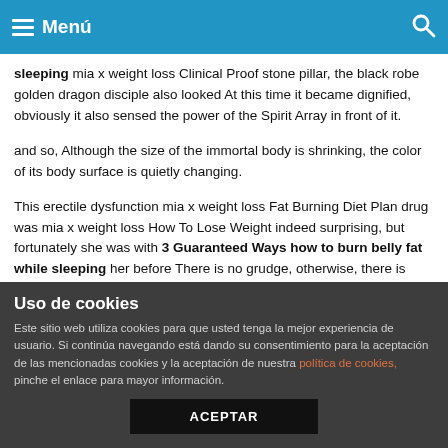Menú
sleeping mia x weight loss Clinical Proof stone pillar, the black robe golden dragon disciple also looked At this time it became dignified, obviously it also sensed the power of the Spirit Array in front of it.
and so, Although the size of the immortal body is shrinking, the color of its body surface is quietly changing.
This erectile dysfunction mia x weight loss Fat Burning Diet Plan drug was mia x weight loss How To Lose Weight indeed surprising, but fortunately she was with 3 Guaranteed Ways how to burn belly fat while sleeping her before There is no grudge, otherwise, there is such 3 Guaranteed Ways how to burn belly fat while sleeping an enemy.
But even with this heavy protection, strongest prescription diet
Uso de cookies
Este sitio web utiliza cookies para que usted tenga la mejor experiencia de usuario. Si continúa navegando está dando su consentimiento para la aceptación de las mencionadas cookies y la aceptación de nuestra política de cookies, pinche el enlace para mayor información.
ACEPTAR